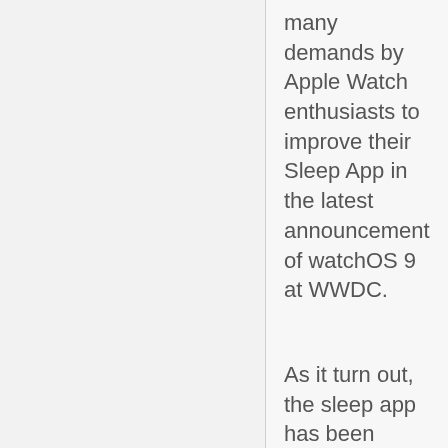many demands by Apple Watch enthusiasts to improve their Sleep App in the latest announcement of watchOS 9 at WWDC.
As it turn out, the sleep app has been “beefed up”, with the latest changes